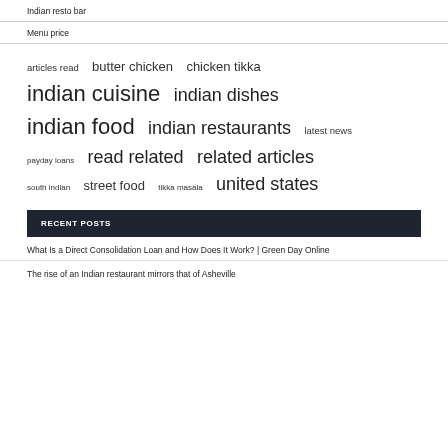Indian resto bar
Menu price
articles read  butter chicken  chicken tikka  indian cuisine  indian dishes  indian food  indian restaurants  latest news  payday loans  read related  related articles  south indian  street food  tikka masala  united states
RECENT POSTS
What Is a Direct Consolidation Loan and How Does It Work? | Green Day Online
The rise of an Indian restaurant mirrors that of Asheville